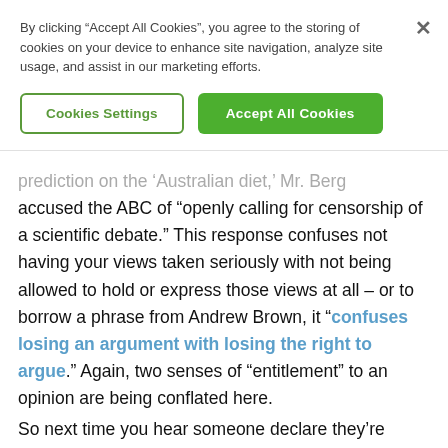By clicking “Accept All Cookies”, you agree to the storing of cookies on your device to enhance site navigation, analyze site usage, and assist in our marketing efforts.
Cookies Settings
Accept All Cookies
prediction on the ‘Australian diet,’ Mr. Berg accused the ABC of “openly calling for censorship of a scientific debate.” This response confuses not having your views taken seriously with not being allowed to hold or express those views at all – or to borrow a phrase from Andrew Brown, it “confuses losing an argument with losing the right to argue.” Again, two senses of “entitlement” to an opinion are being conflated here.
So next time you hear someone declare they’re